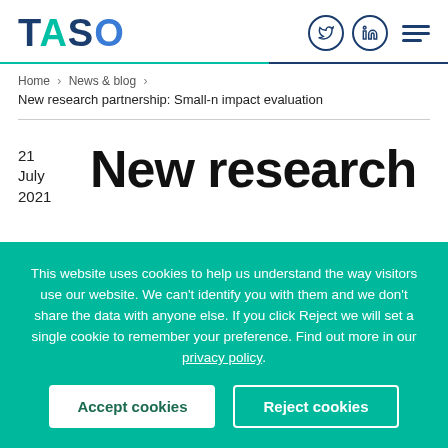[Figure (logo): TASO logo in teal and navy blue lettering]
Home > News & blog > New research partnership: Small-n impact evaluation
New research
21 July 2021
This website uses cookies to help us understand the way visitors use our website. We can't identify you with them and we don't share the data with anyone else. If you click Reject we will set a single cookie to remember your preference. Find out more in our privacy policy.
Accept cookies | Reject cookies